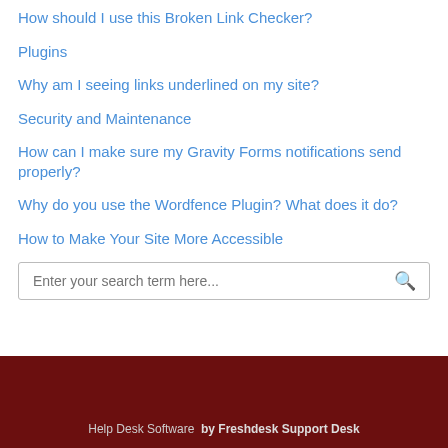How should I use this Broken Link Checker?
Plugins
Why am I seeing links underlined on my site?
Security and Maintenance
How can I make sure my Gravity Forms notifications send properly?
Why do you use the Wordfence Plugin? What does it do?
How to Make Your Site More Accessible
Enter your search term here...
Help Desk Software by Freshdesk Support Desk